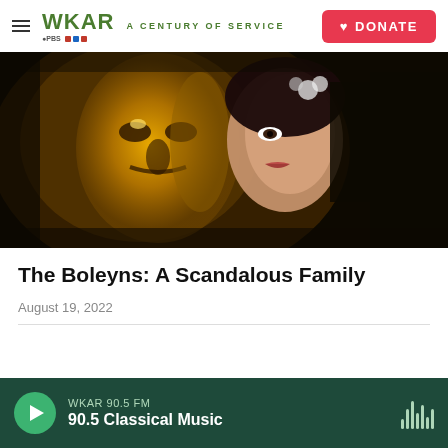WKAR A CENTURY OF SERVICE | DONATE
[Figure (photo): A woman holding a golden mask next to her face, dramatic dark background — promotional image for The Boleyns: A Scandalous Family]
The Boleyns: A Scandalous Family
August 19, 2022
WKAR 90.5 FM — 90.5 Classical Music